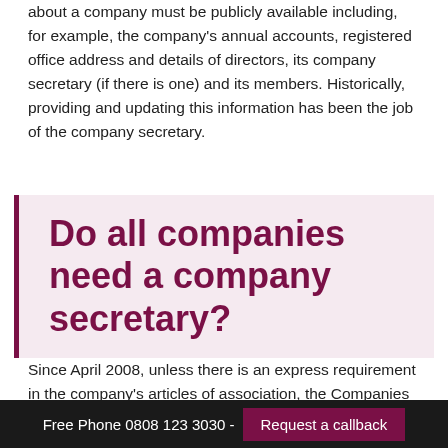about a company must be publicly available including, for example, the company's annual accounts, registered office address and details of directors, its company secretary (if there is one) and its members. Historically, providing and updating this information has been the job of the company secretary.
Do all companies need a company secretary?
Since April 2008, unless there is an express requirement in the company's articles of association, the Companies Act
Free Phone 0808 123 3030 - Request a callback